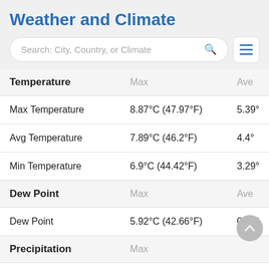Weather and Climate
Search: City, Country, or Climate
| Temperature | Max | Ave |
| --- | --- | --- |
| Max Temperature | 8.87°C (47.97°F) | 5.39° |
| Avg Temperature | 7.89°C (46.2°F) | 4.4° |
| Min Temperature | 6.9°C (44.42°F) | 3.29° |
| Dew Point | Max | Ave |
| Dew Point | 5.92°C (42.66°F) | 0.82° |
| Precipitation | Max |  |
| Precipitation | 17.06mm | 0.67in | 5.4m |